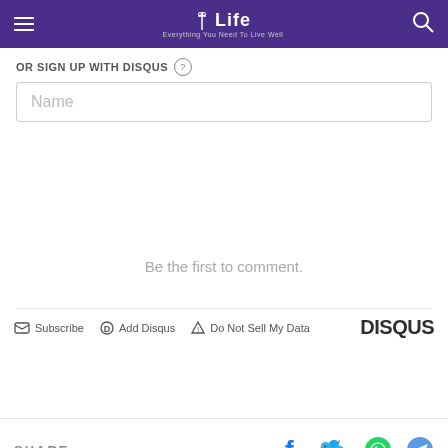Life — Everything You Need To Live Well
OR SIGN UP WITH DISQUS
Name
Be the first to comment.
Subscribe  Add Disqus  Do Not Sell My Data  DISQUS
SHARE
x